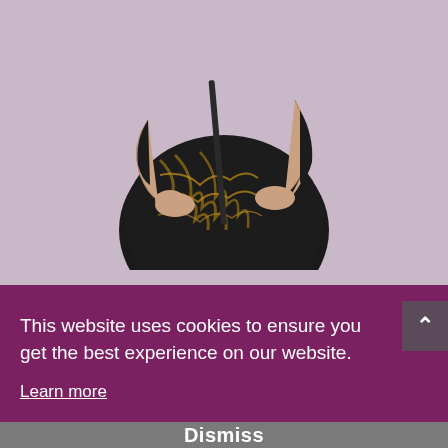[Figure (photo): A person wearing a black dress with gold/brown chain pattern, holding a violin bow in front of them, photographed from the torso area. Background is light purple/mauve.]
Violin Playing is 80% Bow Technique
Overcome your technical struggles and express yourself in music by doing 15
This website uses cookies to ensure you get the best experience on our website.
Learn more
Dismiss